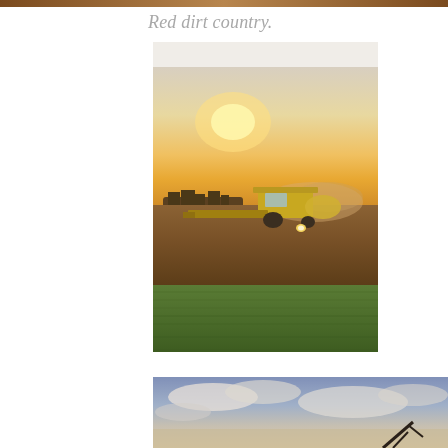Red dirt country.
[Figure (photo): A combine harvester working a large flat agricultural field at golden hour/sunset. The machine is yellow and kicking up dust. The sky is a warm golden-orange gradient. Green crops visible in the foreground strip.]
[Figure (photo): Partial view of a second outdoor photo showing a cloudy blue and white sky at dusk or dawn with what appears to be farm equipment or a silhouette at the bottom edge.]